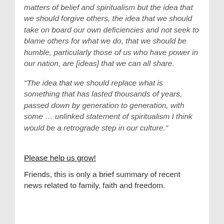matters of belief and spiritualism but the idea that we should forgive others, the idea that we should take on board our own deficiencies and not seek to blame others for what we do, that we should be humble, particularly those of us who have power in our nation, are [ideas] that we can all share.
“The idea that we should replace what is something that has lasted thousands of years, passed down by generation to generation, with some … unlinked statement of spiritualism I think would be a retrograde step in our culture.”
Please help us grow!
Friends, this is only a brief summary of recent news related to family, faith and freedom.